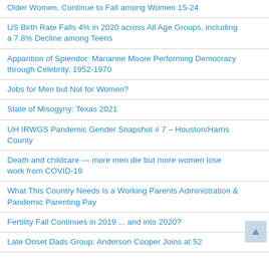Older Women, Continue to Fall among Women 15-24
US Birth Rate Falls 4% in 2020 across All Age Groups, including a 7.8% Decline among Teens
Apparition of Splendor: Marianne Moore Performing Democracy through Celebrity, 1952-1970
Jobs for Men but Not for Women?
State of Misogyny: Texas 2021
UH IRWGS Pandemic Gender Snapshot # 7 – Houston/Harris County
Death and childcare — more men die but more women lose work from COVID-19
What This Country Needs Is a Working Parents Administration & Pandemic Parenting Pay
Fertility Fall Continues in 2019 ... and into 2020?
Late Onset Dads Group: Anderson Cooper Joins at 52